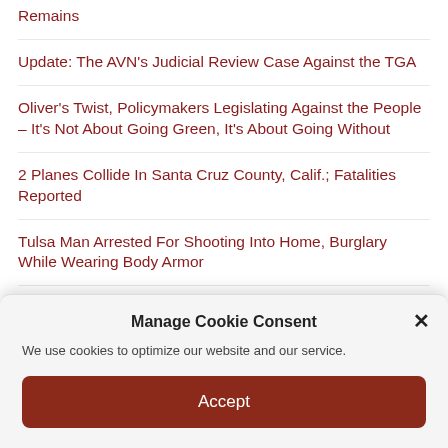Remains
Update: The AVN's Judicial Review Case Against the TGA
Oliver's Twist, Policymakers Legislating Against the People – It's Not About Going Green, It's About Going Without
2 Planes Collide In Santa Cruz County, Calif.; Fatalities Reported
Tulsa Man Arrested For Shooting Into Home, Burglary While Wearing Body Armor
Here's how much drag queen story times are costing Calgary taxpayers
Manage Cookie Consent
We use cookies to optimize our website and our service.
Accept